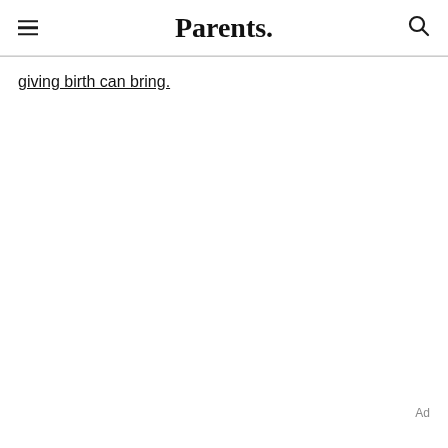Parents.
giving birth can bring.
Ad